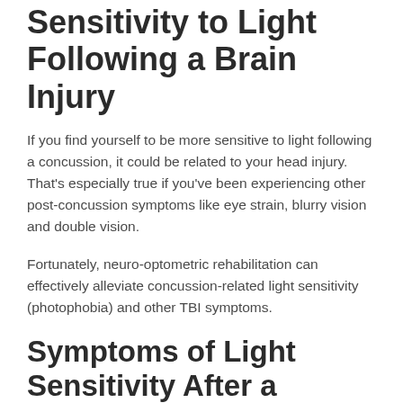Sensitivity to Light Following a Brain Injury
If you find yourself to be more sensitive to light following a concussion, it could be related to your head injury. That's especially true if you've been experiencing other post-concussion symptoms like eye strain, blurry vision and double vision.
Fortunately, neuro-optometric rehabilitation can effectively alleviate concussion-related light sensitivity (photophobia) and other TBI symptoms.
Symptoms of Light Sensitivity After a Concussion
While light sensitivity is a common problem after a head injury, sometimes it can be hard to recognize, as it often overlaps with other symptoms related to brain injury.
The most common symptoms of post-concussion light sensitivity